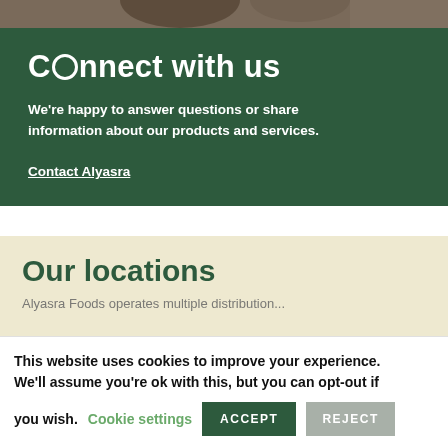[Figure (photo): Partial top image strip showing people in the background]
Connect with us
We're happy to answer questions or share information about our products and services.
Contact Alyasra
Our locations
Alyasra Foods operates multiple distribution...
This website uses cookies to improve your experience. We'll assume you're ok with this, but you can opt-out if you wish.
Cookie settings | ACCEPT | REJECT